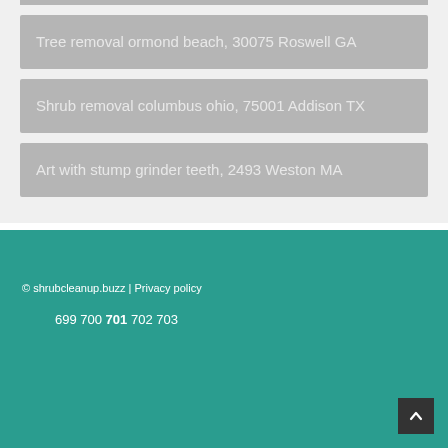Tree removal ormond beach, 30075 Roswell GA
Shrub removal columbus ohio, 75001 Addison TX
Art with stump grinder teeth, 2493 Weston MA
© shrubcleanup.buzz | Privacy policy
699 700 701 702 703